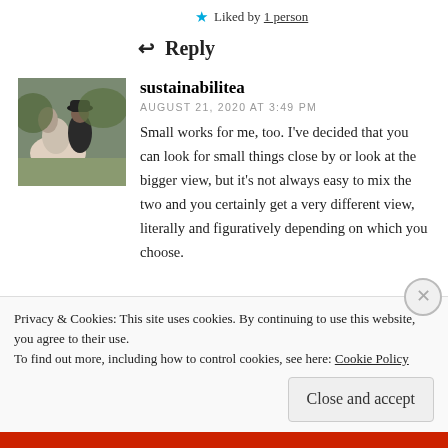★ Liked by 1 person
↩ Reply
[Figure (photo): Profile photo of sustainabilitea showing a person with a white horse outdoors]
sustainabilitea
AUGUST 21, 2020 AT 3:49 PM
Small works for me, too. I've decided that you can look for small things close by or look at the bigger view, but it's not always easy to mix the two and you certainly get a very different view, literally and figuratively depending on which you choose.
Privacy & Cookies: This site uses cookies. By continuing to use this website, you agree to their use.
To find out more, including how to control cookies, see here: Cookie Policy
Close and accept